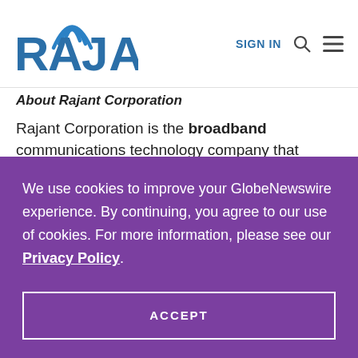[Figure (logo): Rajant Corporation logo with wireless signal arcs above the letter A]
SIGN IN
About Rajant Corporation
Rajant Corporation is the broadband communications technology company that
We use cookies to improve your GlobeNewswire experience. By continuing, you agree to our use of cookies. For more information, please see our Privacy Policy.
ACCEPT